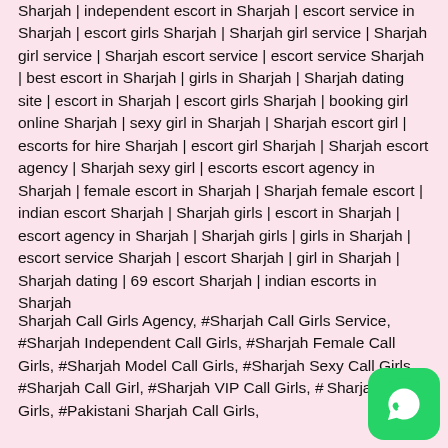Sharjah | independent escort in Sharjah | escort service in Sharjah | escort girls Sharjah | Sharjah girl service | Sharjah girl service | Sharjah escort service | escort service Sharjah | best escort in Sharjah | girls in Sharjah | Sharjah dating site | escort in Sharjah | escort girls Sharjah | booking girl online Sharjah | sexy girl in Sharjah | Sharjah escort girl | escorts for hire Sharjah | escort girl Sharjah | Sharjah escort agency | Sharjah sexy girl | escorts escort agency in Sharjah | female escort in Sharjah | Sharjah female escort | indian escort Sharjah | Sharjah girls | escort in Sharjah | escort agency in Sharjah | Sharjah girls | girls in Sharjah | escort service Sharjah | escort Sharjah | girl in Sharjah | Sharjah dating | 69 escort Sharjah | indian escorts in Sharjah
Sharjah Call Girls Agency, #Sharjah Call Girls Service, #Sharjah Independent Call Girls, #Sharjah Female Call Girls, #Sharjah Model Call Girls, #Sharjah Sexy Call Girls, #Sharjah Call Girl, #Sharjah VIP Call Girls, # Sharjah Call Girls, #Pakistani Sharjah Call Girls, #Russian Sharjah Call Girls, #Filipino Sharjah Call Girls,
[Figure (logo): WhatsApp button icon, green rounded square with white phone handset logo]